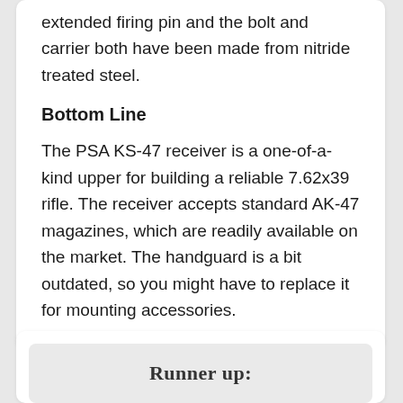extended firing pin and the bolt and carrier both have been made from nitride treated steel.
Bottom Line
The PSA KS-47 receiver is a one-of-a-kind upper for building a reliable 7.62x39 rifle. The receiver accepts standard AK-47 magazines, which are readily available on the market. The handguard is a bit outdated, so you might have to replace it for mounting accessories.
Runner up: